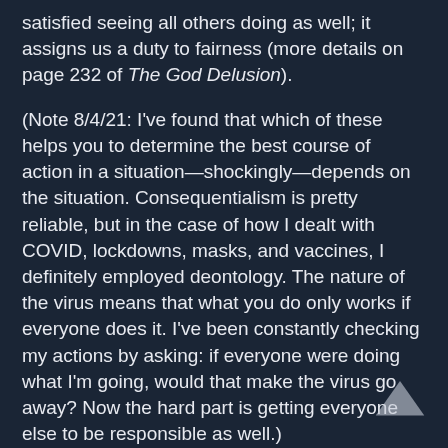satisfied seeing all others doing as well; it assigns us a duty to fairness (more details on page 232 of The God Delusion).
(Note 8/4/21: I've found that which of these helps you to determine the best course of action in a situation—shockingly—depends on the situation. Consequentialism is pretty reliable, but in the case of how I dealt with COVID, lockdowns, masks, and vaccines, I definitely employed deontology. The nature of the virus means that what you do only works if everyone does it. I've been constantly checking my actions by asking: if everyone were doing what I'm going, would that make the virus go away? Now the hard part is getting everyone else to be responsible as well.)
I find these non-religious moral theories to be concrete and measurable while also subjective. You can't stamp onto an action a percentage of how